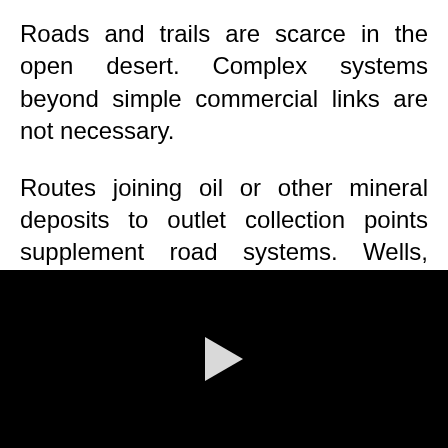Roads and trails are scarce in the open desert. Complex systems beyond simple commercial links are not necessary.
Routes joining oil or other mineral deposits to outlet collection points supplement road systems. Wells, pipelines, refineries, and quarrying
[Figure (other): Black video player area with a white play button triangle in the center]